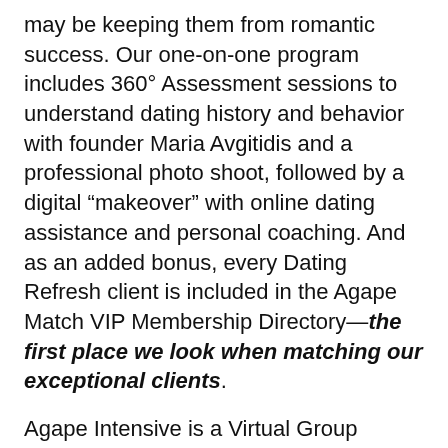may be keeping them from romantic success. Our one-on-one program includes 360° Assessment sessions to understand dating history and behavior with founder Maria Avgitidis and a professional photo shoot, followed by a digital “makeover” with online dating assistance and personal coaching. And as an added bonus, every Dating Refresh client is included in the Agape Match VIP Membership Directory—the first place we look when matching our exceptional clients.
Agape Intensive is a Virtual Group Coaching program that is designed to help women improve their dating experience in one week! The group meets three times over nine hours and dives into compatibility, chemistry analysis, and identifying and avoiding the roadblocks that keep us single and/or attracting the wrong person. Through the...